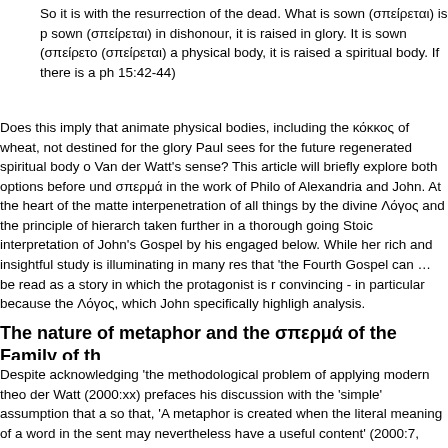So it is with the resurrection of the dead. What is sown (σπείρεται) is p sown (σπείρεται) in dishonour, it is raised in glory. It is sown (σπείρετο (σπείρεται) a physical body, it is raised a spiritual body. If there is a ph 15:42-44)
Does this imply that animate physical bodies, including the κόκκος of wheat, not destined for the glory Paul sees for the future regenerated spiritual body o Van der Watt's sense? This article will briefly explore both options before und σπερμά in the work of Philo of Alexandria and John. At the heart of the matte interpenetration of all things by the divine Λόγος and the principle of hierarch taken further in a thorough going Stoic interpretation of John's Gospel by his engaged below. While her rich and insightful study is illuminating in many res that 'the Fourth Gospel can … be read as a story in which the protagonist is r convincing - in particular because the Λόγος, which John specifically highligh analysis.
The nature of metaphor and the σπερμά of the Family of th
Despite acknowledging 'the methodological problem of applying modern theo der Watt (2000:xx) prefaces his discussion with the 'simple' assumption that a so that, 'A metaphor is created when the literal meaning of a word in the sent may nevertheless have a useful content' (2000:7, citing Mooij 1976). This det the Spirit is a metaphor since it is placed alongside literal earthly birth as con having useful content') so that, 'This parallel use supports the idea of metaph important repercussions, since, if the conception and birth 'from above' are c supports ad initio from the Prologue onwards the hypothesis that the Family o understand the network of 'contrafactual' metaphors which he argues inform argues in his book, consists of an 'analogy' between 'everyday life' and the 's